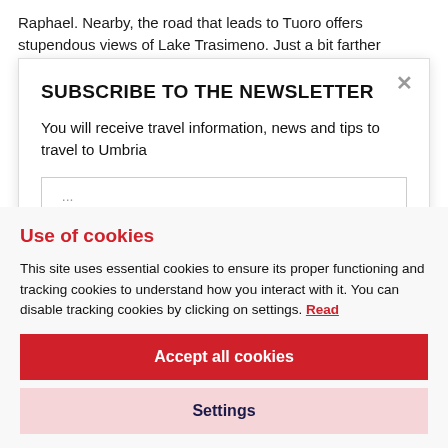Raphael. Nearby, the road that leads to Tuoro offers stupendous views of Lake Trasimeno. Just a bit farther
SUBSCRIBE TO THE NEWSLETTER
You will receive travel information, news and tips to travel to Umbria
Use of cookies
This site uses essential cookies to ensure its proper functioning and tracking cookies to understand how you interact with it. You can disable tracking cookies by clicking on settings. Read
Accept all cookies
Settings